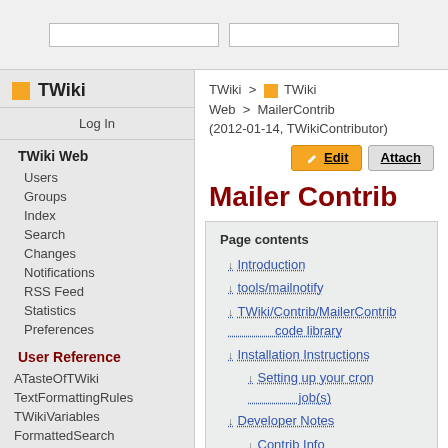TWiki search boxes
TWiki > TWiki Web > MailerContrib (2012-01-14, TWikiContributor)
Mailer Contrib
Page contents
Introduction
tools/mailnotify
TWiki/Contrib/MailerContrib code library
Installation Instructions
Setting up your cron job(s)
Developer Notes
Contrib Info
TWiki Web
Users
Groups
Index
Search
Changes
Notifications
RSS Feed
Statistics
Preferences
User Reference
ATasteOfTWiki
TextFormattingRules
TWikiVariables
FormattedSearch